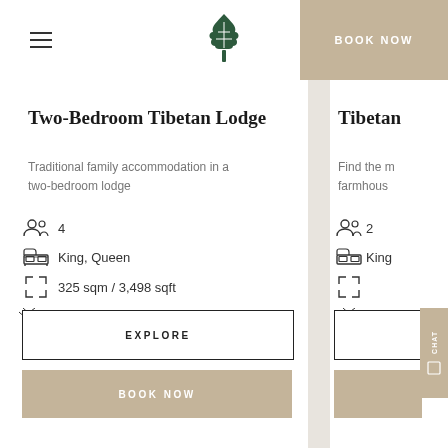BOOK NOW
Two-Bedroom Tibetan Lodge
Traditional family accommodation in a two-bedroom lodge
Guests: 4
Bed type: King, Queen
Size: 325 sqm / 3,498 sqft
Views: Garden, Mountains
EXPLORE
BOOK NOW
Tibetan
Find the r farmhous
Guests: 2
Bed type: King